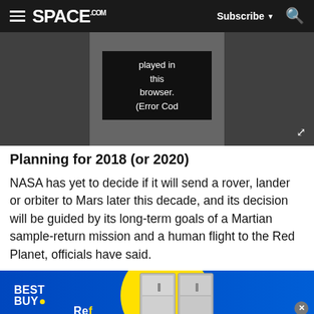SPACE.com — Subscribe — Search
[Figure (screenshot): Video player area showing an error popup with text 'played in this browser. (Error Cod' on a dark background, with an expand icon in the bottom right corner]
Planning for 2018 (or 2020)
NASA has yet to decide if it will send a rover, lander or orbiter to Mars later this decade, and its decision will be guided by its long-term goals of a Martian sample-return mission and a human flight to the Red Planet, officials have said.
[Figure (screenshot): Best Buy advertisement banner with blue background, yellow circle, Best Buy logo, and a refrigerator appliance image with a close button]